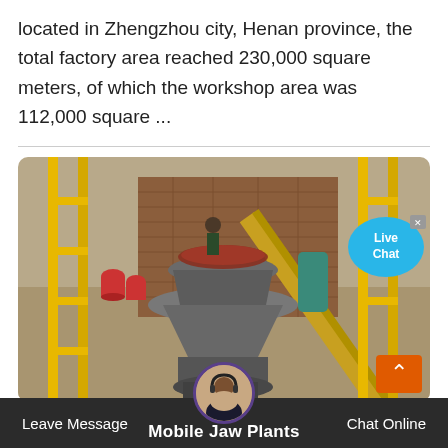located in Zhengzhou city, Henan province, the total factory area reached 230,000 square meters, of which the workshop area was 112,000 square ...
[Figure (photo): Aerial/overhead photograph of industrial mining/crushing machinery (cone crusher) at a quarry or mining site, with yellow scaffolding/conveyor structures, brick wall background, and workers visible. A 'Live Chat' bubble overlay appears in the top-right corner.]
Leave Message
Chat Online
Mobile Jaw Plants